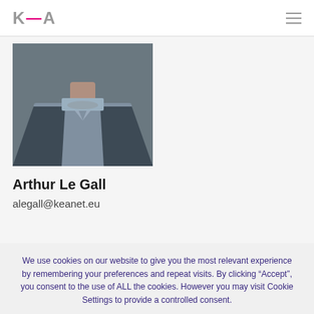KEA
[Figure (photo): Headless/cropped photo of a man wearing a dark blazer and light blue shirt, only neck and torso visible]
Arthur Le Gall
alegall@keanet.eu
We use cookies on our website to give you the most relevant experience by remembering your preferences and repeat visits. By clicking “Accept”, you consent to the use of ALL the cookies. However you may visit Cookie Settings to provide a controlled consent.